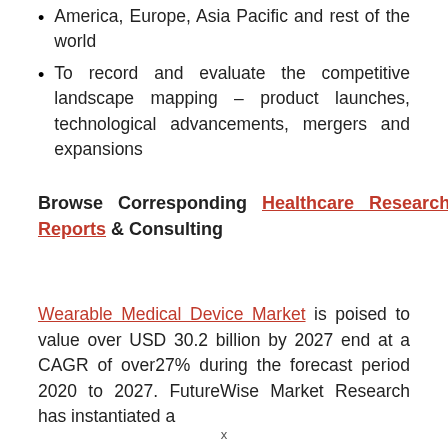America, Europe, Asia Pacific and rest of the world
To record and evaluate the competitive landscape mapping – product launches, technological advancements, mergers and expansions
Browse Corresponding Healthcare Research Reports & Consulting
Wearable Medical Device Market is poised to value over USD 30.2 billion by 2027 end at a CAGR of over27% during the forecast period 2020 to 2027. FutureWise Market Research has instantiated a
x